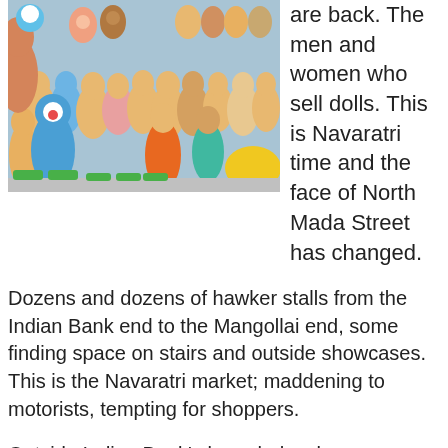[Figure (photo): A colorful collection of clay/painted dolls and figurines including Hindu deities and cartoon characters displayed together, typical of Navaratri golu dolls.]
are back. The men and women who sell dolls. This is Navaratri time and the face of North Mada Street has changed.
Dozens and dozens of hawker stalls from the Indian Bank end to the Mangollai end, some finding space on stairs and outside showcases. This is the Navaratri market; maddening to motorists, tempting for shoppers.
Outside Indian Bank’s branch, hawker Veeramani has arranged all the images according to their size. Images of Shiva and Vishnu, the Dasavatram set . . . Dolls of Sankaranarayanar and of Gomathi amman are new this